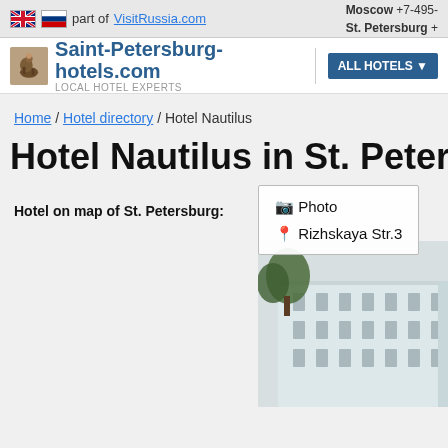part of VisitRussia.com | Moscow +7-495- | St. Petersburg +
[Figure (logo): Saint-Petersburg-hotels.com logo with horseman icon and ALL HOTELS button]
Home / Hotel directory / Hotel Nautilus
Hotel Nautilus in St. Petersburg
Hotel on map of St. Petersburg:
[Figure (photo): Photo of Hotel Nautilus building - white multi-storey building with trees]
📷 Photo
📍 Rizhskaya Str.3